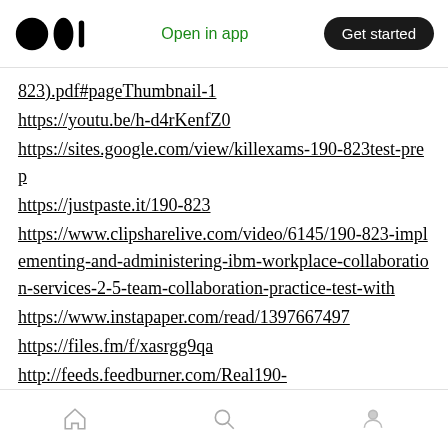Open in app | Get started
823).pdf#pageThumbnail-1
https://youtu.be/h-d4rKenfZ0
https://sites.google.com/view/killexams-190-823test-prep
https://justpaste.it/190-823
https://www.clipsharelive.com/video/6145/190-823-implementing-and-administering-ibm-workplace-collaboration-services-2-5-team-collaboration-practice-test-with
https://www.instapaper.com/read/1397667497
https://files.fm/f/xasrgg9qa
http://feeds.feedburner.com/Real190-
Home | Search | Profile